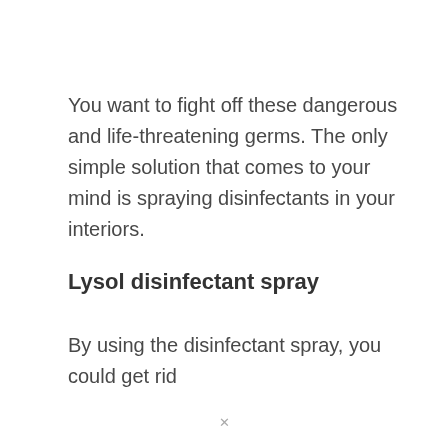You want to fight off these dangerous and life-threatening germs. The only simple solution that comes to your mind is spraying disinfectants in your interiors.
Lysol disinfectant spray
By using the disinfectant spray, you could get rid